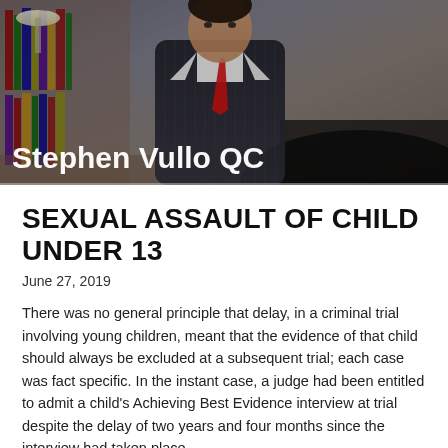[Figure (photo): Header photo of Stephen Vullo QC, a man in a dark pinstripe suit and red tie, seated at a desk with bookshelves in the background. White text overlay reads 'Stephen Vullo QC'.]
SEXUAL ASSAULT OF CHILD UNDER 13
June 27, 2019
There was no general principle that delay, in a criminal trial involving young children, meant that the evidence of that child should always be excluded at a subsequent trial; each case was fact specific. In the instant case, a judge had been entitled to admit a child's Achieving Best Evidence interview at trial despite the delay of two years and four months since the interview had taken place.